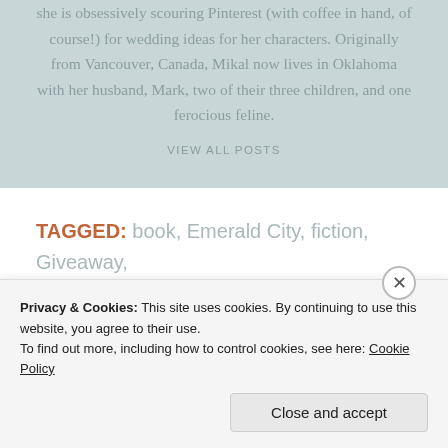she is obsessively scouring Pinterest (with coffee in hand, of course!) for wedding ideas for her characters. Originally from Vancouver, Canada, Mikal now lives in Oklahoma with her husband, Mark, two of their three children, and one ferocious feline.
VIEW ALL POSTS
TAGGED: book, Emerald City, fiction, Giveaway, God, Jesus, prizes, romance, Seattle, writers, writing
Privacy & Cookies: This site uses cookies. By continuing to use this website, you agree to their use. To find out more, including how to control cookies, see here: Cookie Policy
Close and accept